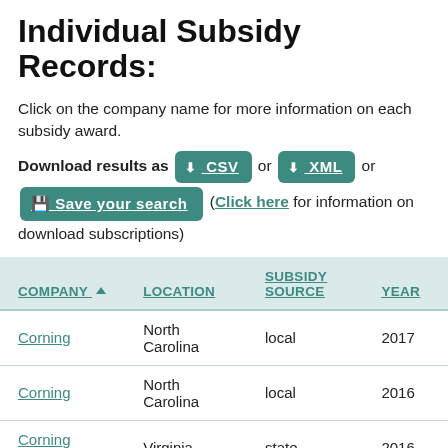Individual Subsidy Records:
Click on the company name for more information on each subsidy award.
Download results as [CSV] or [XML] or [Save your search] (Click here for information on download subscriptions)
| COMPANY | LOCATION | SUBSIDY SOURCE | YEAR |
| --- | --- | --- | --- |
| Corning | North Carolina | local | 2017 |
| Corning | North Carolina | local | 2016 |
| Corning (2016) | Virginia | state | 2016 |